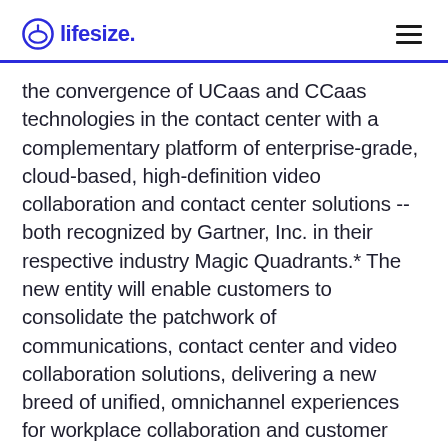lifesize
the convergence of UCaas and CCaas technologies in the contact center with a complementary platform of enterprise-grade, cloud-based, high-definition video collaboration and contact center solutions -- both recognized by Gartner, Inc. in their respective industry Magic Quadrants.* The new entity will enable customers to consolidate the patchwork of communications, contact center and video collaboration solutions, delivering a new breed of unified, omnichannel experiences for workplace collaboration and customer engagement. The company will provide